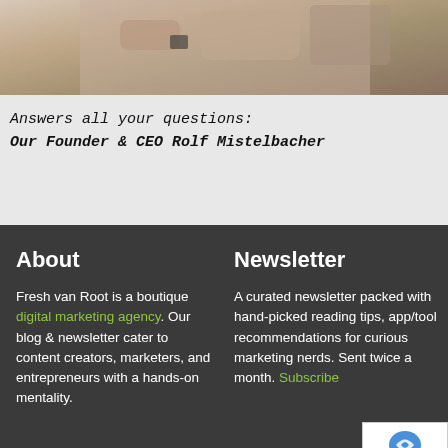[Figure (photo): Close-up photo of hands/arms of a person, cropped at top]
Answers all your questions:
Our Founder & CEO Rolf Mistelbacher
About
Fresh van Root is a boutique digital marketing agency. Our blog & newsletter cater to content creators, marketers, and entrepreneurs with a hands-on mentality.
Newsletter
A curated newsletter packed with hand-picked reading tips, app/tool recommendations for curious marketing nerds. Sent twice a month. Subscribe